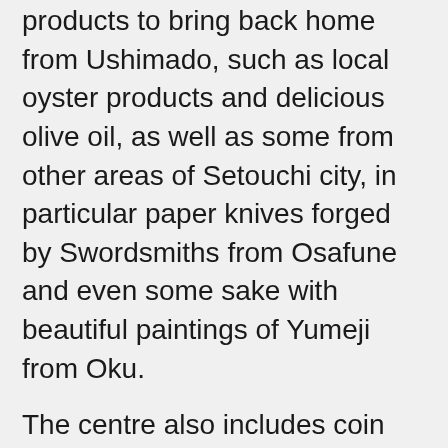products to bring back home from Ushimado, such as local oyster products and delicious olive oil, as well as some from other areas of Setouchi city, in particular paper knives forged by Swordsmiths from Osafune and even some sake with beautiful paintings of Yumeji from Oku.
The centre also includes coin lockers of various sizes to store your bags in, as well as bikes to rent out for 500 yen for 4 hours per bike. Information in English is a bit limited but you can be sure that the lovely staff will be as helpful as possible! So don’t be shy, get that google translator out if needed, and have a chat about the places to see and the food to eat!